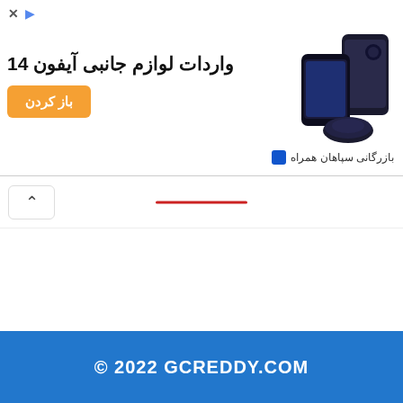[Figure (screenshot): Advertisement banner for iPhone 14 accessories import (Persian text). Shows orange button labeled 'باز کردن' (Open), headline text 'واردات لوازم جانبی آیفون 14' (iPhone 14 accessories import), phone/device images on right, and brand name 'بازرگانی سپاهان همراه' at bottom right.]
[Figure (screenshot): Navigation bar with back arrow button on left and a red horizontal line in the center.]
© 2022 GCREDDY.COM